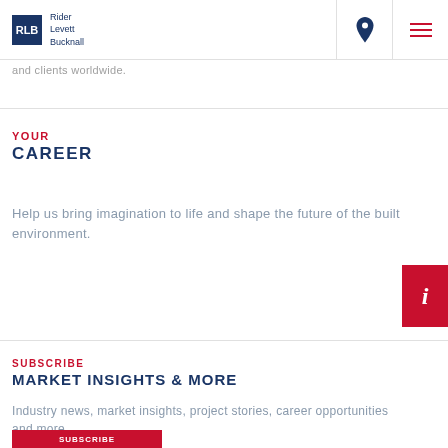RLB Rider Levett Bucknall
and clients worldwide.
YOUR
CAREER
Help us bring imagination to life and shape the future of the built environment.
SUBSCRIBE
MARKET INSIGHTS & MORE
Industry news, market insights, project stories, career opportunities and more